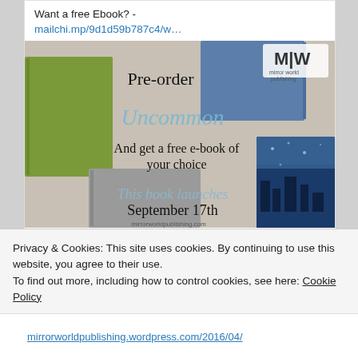Want a free Ebook? - mailchi.mp/9d1d59b787c4/w…
[Figure (photo): Book pre-order promotional image for 'Uncommon' by Mirror World Publishing. Shows several books arranged on a surface with text: 'Pre-order Uncommon And get a free e-book of your choice This book launches September 17th mirrorworldpublishing.com']
3 (likes)
Privacy & Cookies: This site uses cookies. By continuing to use this website, you agree to their use.
To find out more, including how to control cookies, see here: Cookie Policy
Close and accept
mirrorworldpublishing.wordpress.com/2016/04/